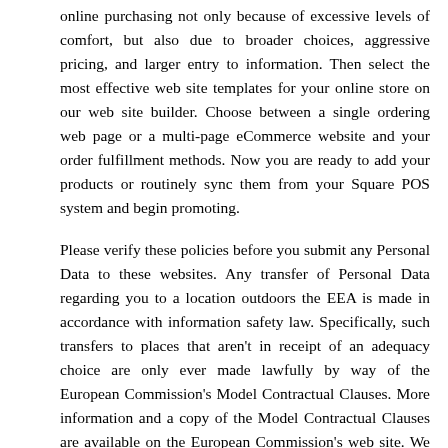online purchasing not only because of excessive levels of comfort, but also due to broader choices, aggressive pricing, and larger entry to information. Then select the most effective web site templates for your online store on our web site builder. Choose between a single ordering web page or a multi-page eCommerce website and your order fulfillment methods. Now you are ready to add your products or routinely sync them from your Square POS system and begin promoting.
Please verify these policies before you submit any Personal Data to these websites. Any transfer of Personal Data regarding you to a location outdoors the EEA is made in accordance with information safety law. Specifically, such transfers to places that aren't in receipt of an adequacy choice are only ever made lawfully by way of the European Commission's Model Contractual Clauses. More information and a copy of the Model Contractual Clauses are available on the European Commission's web site. We could switch and/or retailer Personal Data related to you to a vacation spot outdoors the European Economic Area